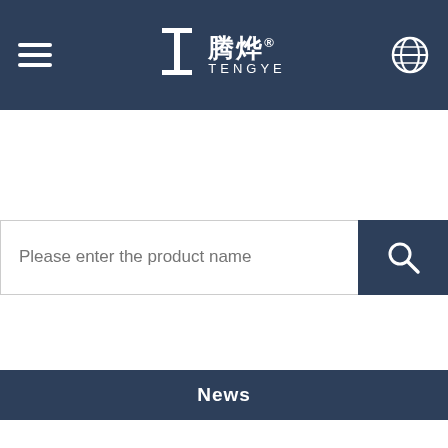TENGYE 腾烨 — Navigation header with hamburger menu and globe icon
Please enter the product name
News
These points you need to know about custom furniture!
In today's society, with the improvement of people's living standards, the furniture market has also changed. Nowadays, furniture customization has become the mainstream of consumption. More and more people like to pursue individuality and decorate their own houses. When decorating a house, it will generally choose a customized service, including custom furniture, living room sofa, coffee table, TV cabinet, side and so on.
[Figure (photo): Partial image of furniture at the bottom of the page]